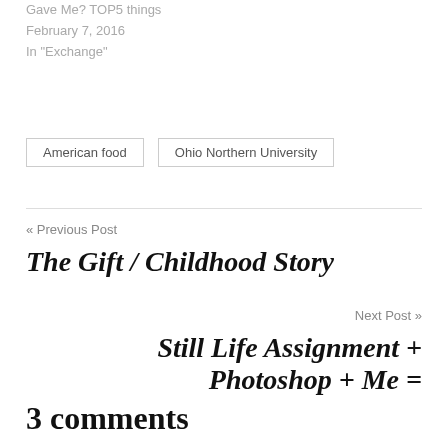Gave Me? TOP5 things
February 7, 2016
In "Exchange"
American food
Ohio Northern University
« Previous Post
The Gift / Childhood Story
Next Post »
Still Life Assignment + Photoshop + Me =
3 comments